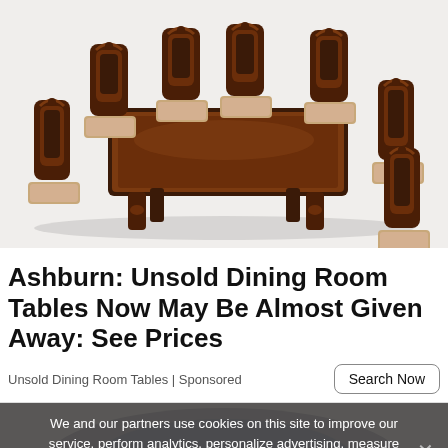[Figure (photo): A formal dark mahogany dining room table set with ornate carved chairs featuring upholstered floral seats, shown on white background]
Ashburn: Unsold Dining Room Tables Now May Be Almost Given Away: See Prices
Unsold Dining Room Tables | Sponsored
Search Now
[Figure (photo): Partial view of a person's forehead/hair at top, overlaid by a cookie consent banner]
We and our partners use cookies on this site to improve our service, perform analytics, personalize advertising, measure advertising performance, and remember website preferences.
Ok